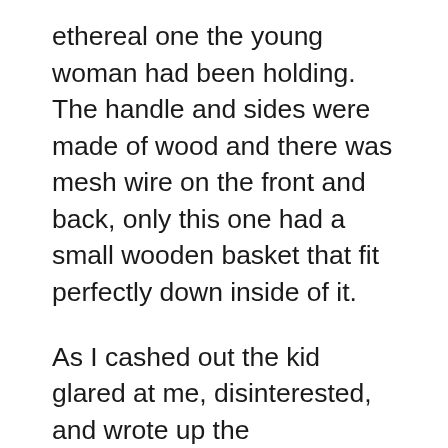ethereal one the young woman had been holding. The handle and sides were made of wood and there was mesh wire on the front and back, only this one had a small wooden basket that fit perfectly down inside of it.
As I cashed out the kid glared at me, disinterested, and wrote up the consignment contract. After the cost of the basket, I had just enough left for a mocha latte to take to the park. I thought I'd relax for a minute and get a jolt of caffeine while simultaneously ensuring that Cody would be down for a nap this